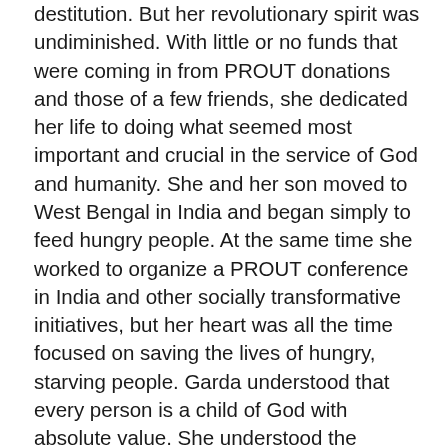destitution. But her revolutionary spirit was undiminished. With little or no funds that were coming in from PROUT donations and those of a few friends, she dedicated her life to doing what seemed most important and crucial in the service of God and humanity. She and her son moved to West Bengal in India and began simply to feed hungry people. At the same time she worked to organize a PROUT conference in India and other socially transformative initiatives, but her heart was all the time focused on saving the lives of hungry, starving people. Garda understood that every person is a child of God with absolute value. She understood the issues and the dilemma that we all face, as we must choose between using our limited resources for social change or directly giving them to the destitute and shattered victims of this heartless world system. After moving to India, she wrote to me the following: Regarding revolution, my